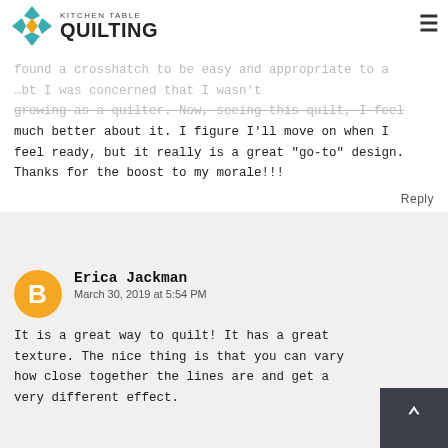Kitchen Table Quilting
found a crosshatch to be easy and appropriate to a ... but I was concerned that I wasn't growing as a quilter. Now, seeing this quilt, I feel much better about it. I figure I'll move on when I feel ready, but it really is a great "go-to" design. Thanks for the boost to my morale!!!
Reply
Erica Jackman
March 30, 2019 at 5:54 PM
It is a great way to quilt! It has a great texture. The nice thing is that you can vary how close together the lines are and get a very different effect.